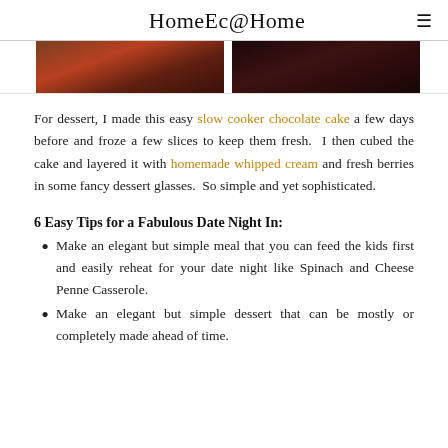HomeEc@Home
[Figure (photo): Two cropped food/dessert photos side by side, partially visible at top of page]
For dessert, I made this easy slow cooker chocolate cake a few days before and froze a few slices to keep them fresh.  I then cubed the cake and layered it with homemade whipped cream and fresh berries in some fancy dessert glasses.  So simple and yet sophisticated.
6 Easy Tips for a Fabulous Date Night In:
Make an elegant but simple meal that you can feed the kids first and easily reheat for your date night like Spinach and Cheese Penne Casserole.
Make an elegant but simple dessert that can be mostly or completely made ahead of time.